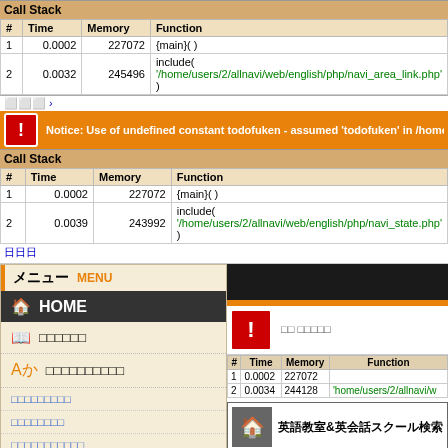| # | Time | Memory | Function |
| --- | --- | --- | --- |
| 1 | 0.0002 | 227072 | {main}( ) |
| 2 | 0.0032 | 245496 | include( '/home/users/2/allnavi/web/english/php/navi_area_link.php' ) |
>>>
[Figure (screenshot): Orange error bar: Notice: Use of undefined constant todofuken - assumed 'todofuken' in /home/users/2]
| # | Time | Memory | Function |
| --- | --- | --- | --- |
| 1 | 0.0002 | 227072 | {main}( ) |
| 2 | 0.0039 | 243992 | include( '/home/users/2/allnavi/web/english/php/navi_state.php' ) |
日日日
[Figure (screenshot): Left navigation panel in Japanese with menu items: メニュー MENU, HOME, and Japanese nav links. Right panel showing error screenshots with orange error icons and a home section with 英語教室＆英会話スクール検索 and another Notice error.]